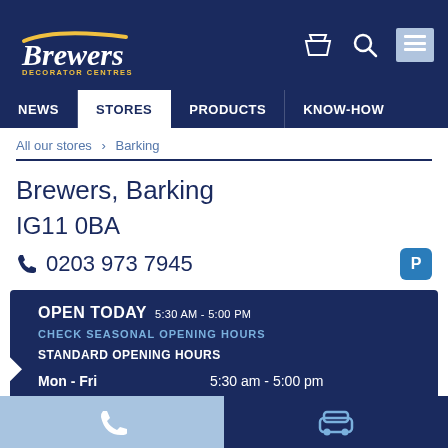Brewers Decorator Centres — Navigation: NEWS | STORES | PRODUCTS | KNOW-HOW
All our stores › Barking
Brewers, Barking
IG11 0BA
0203 973 7945
OPEN TODAY 5:30 AM - 5:00 PM
CHECK SEASONAL OPENING HOURS
STANDARD OPENING HOURS
Mon - Fri: 5:30 am - 5:00 pm
Sat: 8:00 am - 5:00 pm
Sun: Closed